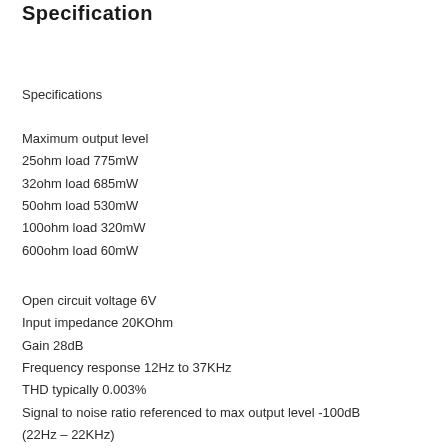Specification
Specifications
Maximum output level
25ohm load 775mW
32ohm load 685mW
50ohm load 530mW
100ohm load 320mW
600ohm load 60mW
Open circuit voltage 6V
Input impedance 20KOhm
Gain 28dB
Frequency response 12Hz to 37KHz
THD typically 0.003%
Signal to noise ratio referenced to max output level -100dB (22Hz – 22KHz)
Maximum Power requirements 24VAC at 225mA (685mW 32W)
Dimensions: 178mm Wide / 155mm Depth / 45mm Height